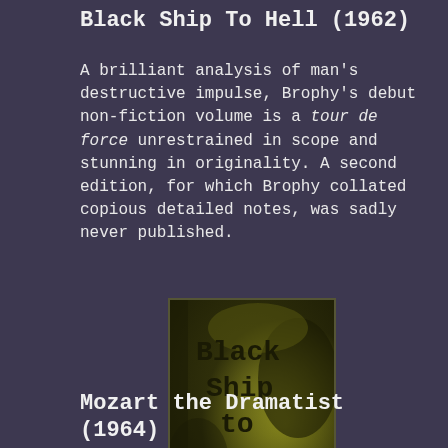Black Ship To Hell (1962)
A brilliant analysis of man's destructive impulse, Brophy's debut non-fiction volume is a tour de force unrestrained in scope and stunning in originality. A second edition, for which Brophy collated copious detailed notes, was sadly never published.
[Figure (photo): Book cover of 'Black Ship to Hell' by Brigid Brophy, showing the title text in bold typewriter font against a dark olive/green distressed background.]
Mozart the Dramatist (1964)